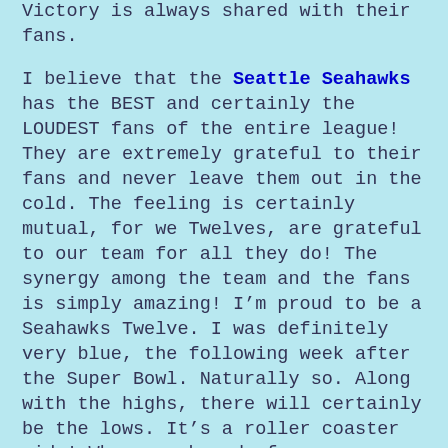Victory is always shared with their fans.

I believe that the Seattle Seahawks has the BEST and certainly the LOUDEST fans of the entire league! They are extremely grateful to their fans and never leave them out in the cold. The feeling is certainly mutual, for we Twelves, are grateful to our team for all they do! The synergy among the team and the fans is simply amazing! I'm proud to be a Seahawks Twelve. I was definitely very blue, the following week after the Super Bowl. Naturally so. Along with the highs, there will certainly be the lows. It's a roller coaster ride! Who ever heard of a